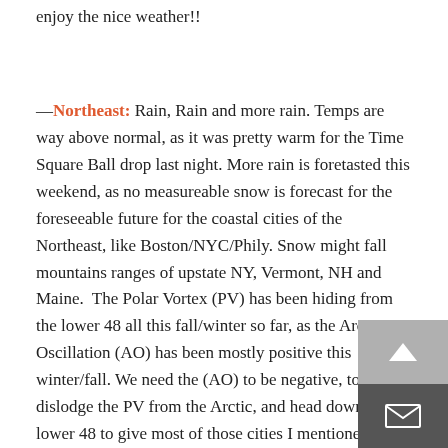enjoy the nice weather!!
—Northeast: Rain, Rain and more rain. Temps are way above normal, as it was pretty warm for the Time Square Ball drop last night. More rain is foretasted this weekend, as no measureable snow is forecast for the foreseeable future for the coastal cities of the Northeast, like Boston/NYC/Phily. Snow might fall mountains ranges of upstate NY, Vermont, NH and Maine.  The Polar Vortex (PV) has been hiding from the lower 48 all this fall/winter so far, as the Arctic Oscillation (AO) has been mostly positive this winter/fall. We need the (AO) to be negative, to dislodge the PV from the Arctic, and head down to the lower 48 to give most of those cities I mentioned some snow. Currently, it is very very positive. As you can see on the graphic above from the CPC, way above normal in temps through the week 2 period. This